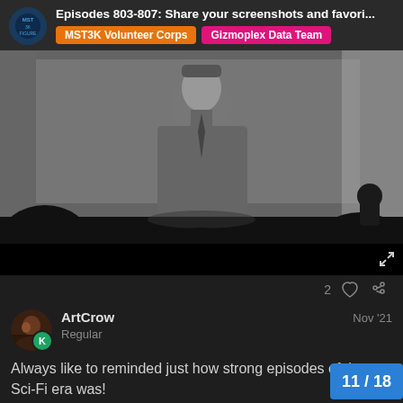Episodes 803-807: Share your screenshots and favori...
MST3K Volunteer Corps  Gizmoplex Data Team
[Figure (screenshot): Black and white film screenshot showing a man in suit with silhouette audience members in foreground, typical MST3K movie watching format]
2
ArtCrow
Regular
Nov '21
Always like to reminded just how strong episodes of the Sci-Fi era was!